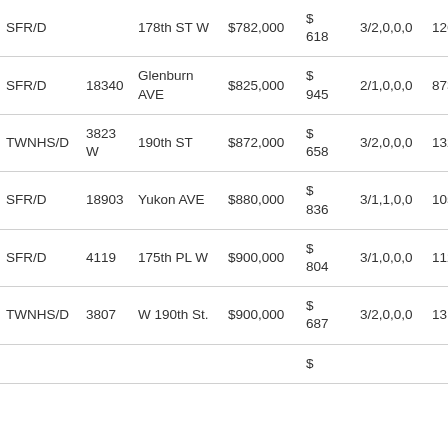| Type | Number | Street | Price | $/sqft | Beds/Baths | Sqft |
| --- | --- | --- | --- | --- | --- | --- |
| SFR/D |  | 178th ST W | $782,000 | $ 618 | 3/2,0,0,0 | 126… |
| SFR/D | 18340 | Glenburn AVE | $825,000 | $ 945 | 2/1,0,0,0 | 873… |
| TWNHS/D | 3823 W | 190th ST | $872,000 | $ 658 | 3/2,0,0,0 | 132… |
| SFR/D | 18903 | Yukon AVE | $880,000 | $ 836 | 3/1,1,0,0 | 105… |
| SFR/D | 4119 | 175th PL W | $900,000 | $ 804 | 3/1,0,0,0 | 112… |
| TWNHS/D | 3807 | W 190th St. | $900,000 | $ 687 | 3/2,0,0,0 | 131… |